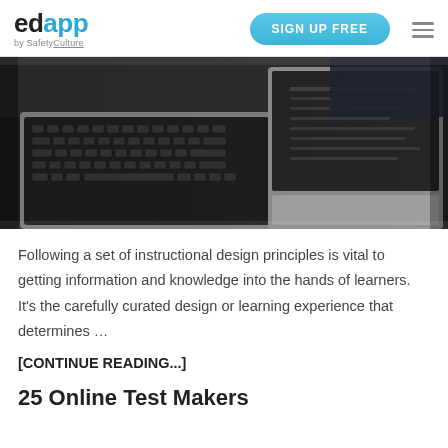edapp by SafetyCulture | SIGN UP FREE
[Figure (photo): Overhead view of laptops and keyboards on a dark surface, black and white/grayscale tones]
Following a set of instructional design principles is vital to getting information and knowledge into the hands of learners. It’s the carefully curated design or learning experience that determines …
[CONTINUE READING...]
25 Online Test Makers